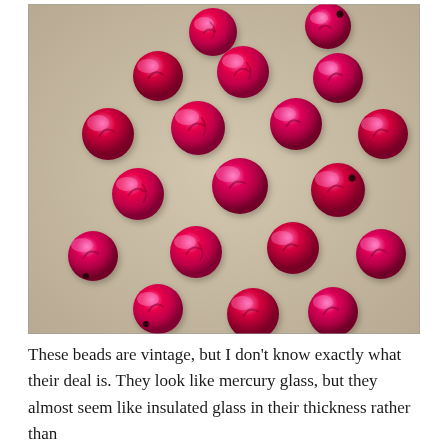[Figure (photo): Approximately 22 round, bright magenta/hot-pink vintage glass beads with a marbled mercury-glass-like reflective surface scattered on a beige linen or canvas background.]
These beads are vintage, but I don't know exactly what their deal is. They look like mercury glass, but they almost seem like insulated glass in their thickness rather than